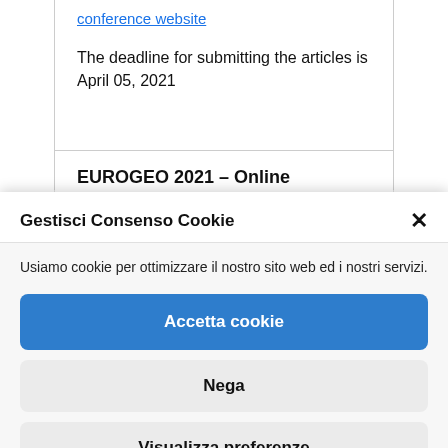conference website
The deadline for submitting the articles is April 05, 2021
EUROGEO 2021 – Online
Gestisci Consenso Cookie
Usiamo cookie per ottimizzare il nostro sito web ed i nostri servizi.
Accetta cookie
Nega
Visualizza preferenze